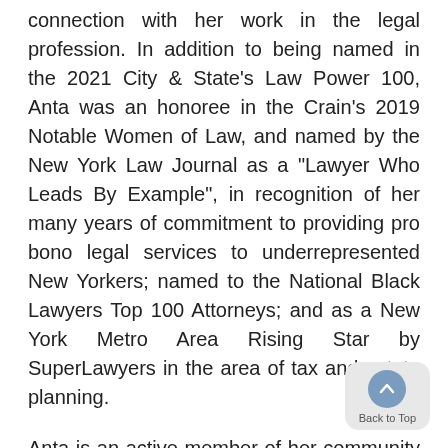connection with her work in the legal profession. In addition to being named in the 2021 City & State's Law Power 100, Anta was an honoree in the Crain's 2019 Notable Women of Law, and named by the New York Law Journal as a "Lawyer Who Leads By Example", in recognition of her many years of commitment to providing pro bono legal services to underrepresented New Yorkers; named to the National Black Lawyers Top 100 Attorneys; and as a New York Metro Area Rising Star by SuperLawyers in the area of tax and estate planning.
Anta is an active member of her community in her roles as President of the Metropolitan Black Bar Association, the largest unified association of Black and other minority lawyers, in the New York metropolitan area, with a mission to advance equality and excellence in the